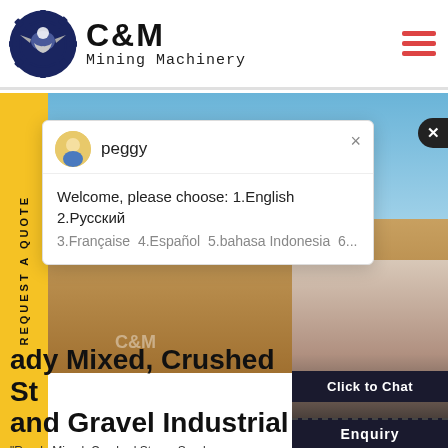[Figure (logo): C&M Mining Machinery logo with eagle in gear icon, navy blue and black]
[Figure (photo): Mining site hero image with blue sky and sand/dirt terrain, C&M branding visible]
peggy
Welcome, please choose: 1.English  2.Русский
3.Française  4.Español  5.bahasa Indonesia  6...
[Figure (photo): Customer support agent woman wearing headset, smiling, with blue notification badge showing '1']
ady Mixed, Crushed St and Gravel Industrial
"Ready Mixed, Crushed Stone, Sand...
Click to Chat
Enquiry